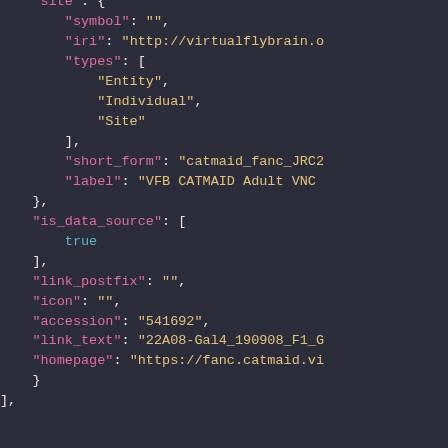[Figure (screenshot): Dark-themed JSON code snippet showing a partial JSON structure with fields: site (object with symbol, iri, types, short_form, label), is_data_source (array with true), link_postfix, icon, accession, link_text, homepage. Color-coded syntax with pink keys, yellow string values, cyan boolean.]